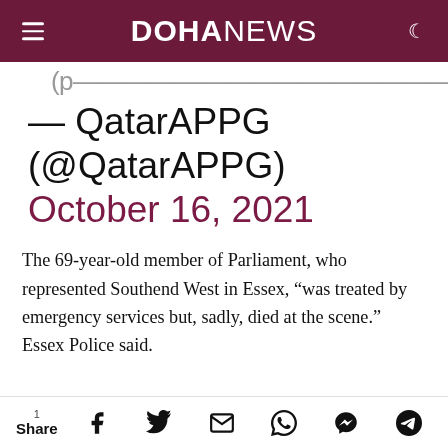DOHANEWS
(partially visible cropped text from tweet above)
— QatarAPPG (@QatarAPPG) October 16, 2021
The 69-year-old member of Parliament, who represented Southend West in Essex, "was treated by emergency services but, sadly, died at the scene." Essex Police said.
1 Share [Facebook] [Twitter] [Email] [WhatsApp] [Messenger] [Telegram]